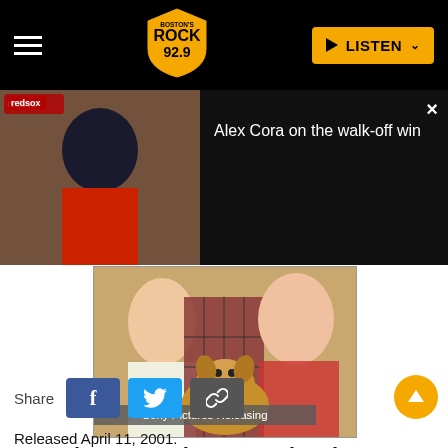Boston's Rock 92.9 — LISTEN
[Figure (screenshot): Video thumbnail of Alex Cora press conference with Red Sox branding overlay. Black panel with text 'Alex Cora on the walk-off win' and close button.]
[Figure (photo): Movie promotional photo for Joe Dirt showing two blonde women and a golden retriever dog, with 'Sony Pictures Releasing' label overlay. DVD box art image.]
Joe Dirt_Sony Pictures Releasing
Share
Released April 11, 2001.